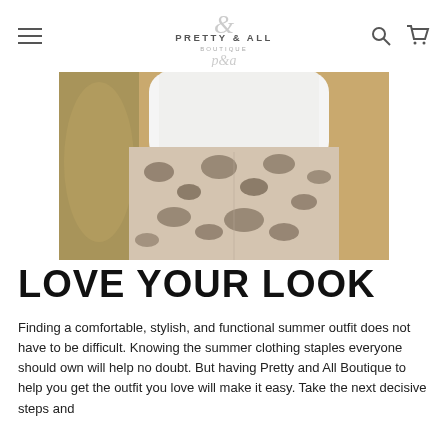Pretty & All Boutique — navigation header with hamburger menu, logo, search and cart icons
[Figure (photo): Close-up photo of a person wearing white top and animal-print (leopard/cow print) leggings, outdoors with golden/sandy background]
LOVE YOUR LOOK
Finding a comfortable, stylish, and functional summer outfit does not have to be difficult. Knowing the summer clothing staples everyone should own will help no doubt. But having Pretty and All Boutique to help you get the outfit you love will make it easy. Take the next decisive steps and…